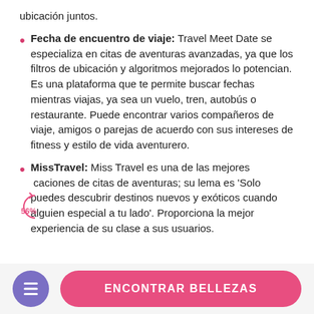ubicación juntos.
Fecha de encuentro de viaje: Travel Meet Date se especializa en citas de aventuras avanzadas, ya que los filtros de ubicación y algoritmos mejorados lo potencian. Es una plataforma que te permite buscar fechas mientras viajas, ya sea un vuelo, tren, autobús o restaurante. Puede encontrar varios compañeros de viaje, amigos o parejas de acuerdo con sus intereses de fitness y estilo de vida aventurero.
MissTravel: Miss Travel es una de las mejores aplicaciones de citas de aventuras; su lema es 'Solo puedes descubrir destinos nuevos y exóticos cuando alguien especial a tu lado'. Proporciona la mejor experiencia de su clase a sus usuarios.
ENCONTRAR BELLEZAS